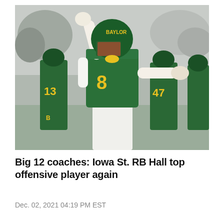[Figure (photo): Football players in green and gold Baylor uniforms running onto the field. Player #8 in the foreground is raising one arm and extending the other, wearing a green helmet, green jersey with gold #8, and white pants. Players #13 and #47 are visible in the background along with other teammates and a crowd.]
Big 12 coaches: Iowa St. RB Hall top offensive player again
Dec. 02, 2021 04:19 PM EST